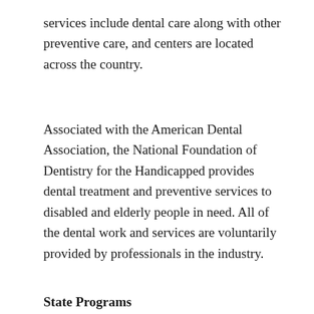services include dental care along with other preventive care, and centers are located across the country.
Associated with the American Dental Association, the National Foundation of Dentistry for the Handicapped provides dental treatment and preventive services to disabled and elderly people in need. All of the dental work and services are voluntarily provided by professionals in the industry.
State Programs